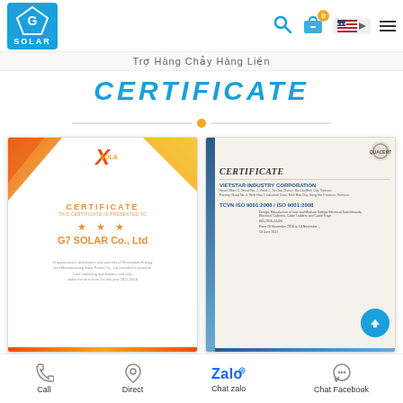G7 Solar website header with logo, search icon, cart (0), US flag, and hamburger menu
Trợ Hàng Chảy Hàng Liền
CERTIFICATE
[Figure (photo): G7 Solar certificate with orange/yellow decorative corners, SOLAX logo, CERTIFICATE text, 5 stars, G7 SOLAR Co., Ltd company name, and body text]
[Figure (photo): QUACERT ISO certificate showing VIETSTAR INDUSTRY CORPORATION, TCVN ISO 9001:2008 / ISO 9001:2008, with blue sidebar and upload button]
Call | Direct | Chat zalo | Chat Facebook